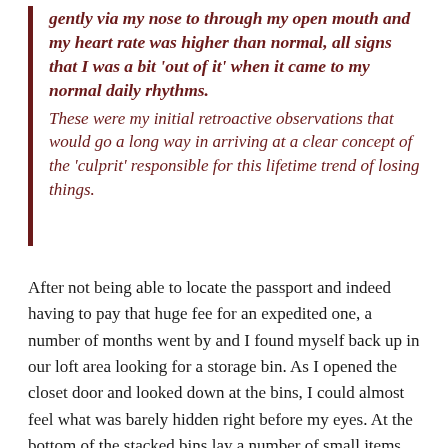gently via my nose to through my open mouth and my heart rate was higher than normal, all signs that I was a bit 'out of it' when it came to my normal daily rhythms. These were my initial retroactive observations that would go a long way in arriving at a clear concept of the 'culprit' responsible for this lifetime trend of losing things.
After not being able to locate the passport and indeed having to pay that huge fee for an expedited one, a number of months went by and I found myself back up in our loft area looking for a storage bin. As I opened the closet door and looked down at the bins, I could almost feel what was barely hidden right before my eyes. At the bottom of the stacked bins lay a number of small items